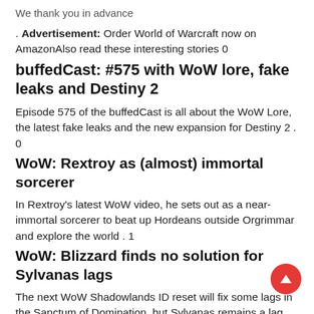We thank you in advance
. Advertisement: Order World of Warcraft now on AmazonAlso read these interesting stories 0
buffedCast: #575 with WoW lore, fake leaks and Destiny 2
Episode 575 of the buffedCast is all about the WoW Lore, the latest fake leaks and the new expansion for Destiny 2 . 0
WoW: Rextroy as (almost) immortal sorcerer
In Rextroy’s latest WoW video, he sets out as a near-immortal sorcerer to beat up Hordeans outside Orgrimmar and explore the world . 1
WoW: Blizzard finds no solution for Sylvanas lags
The next WoW Shadowlands ID reset will fix some lags in the Sanctum of Domination, but Sylvanas remains a lag battle. From Philipp Sattler
Editor
Is something missing from the article? to the home page
The links marked with * are affiliate links. Affiliate links are not ads, as we are independent in our research and selection of featured products. For product sales we receive a small commission, with which we partially